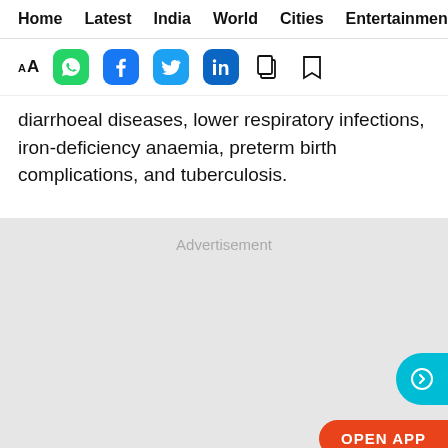Home  Latest  India  World  Cities  Entertainment
[Figure (screenshot): Toolbar with font size, WhatsApp, Facebook, Twitter, LinkedIn, copy, and bookmark icons]
diarrhoeal diseases, lower respiratory infections, iron-deficiency anaemia, preterm birth complications, and tuberculosis.
[Figure (other): Advertisement placeholder box with OPEN APP button]